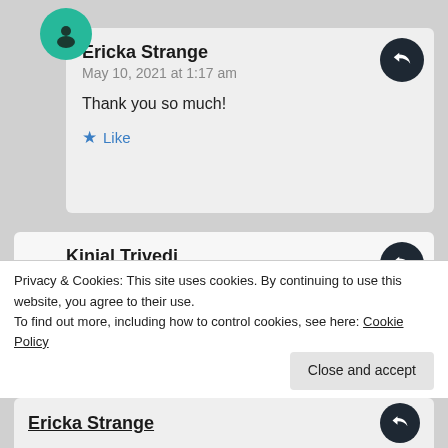Ericka Strange
May 10, 2021 at 1:17 am
Thank you so much!
★ Like
Kinjal Trivedi
May 7, 2021 at 6:06 pm
These both cards are totally unique and love them both!
Privacy & Cookies: This site uses cookies. By continuing to use this website, you agree to their use.
To find out more, including how to control cookies, see here: Cookie Policy
Close and accept
Ericka Strange